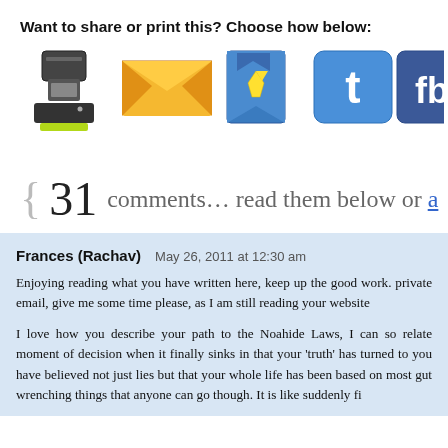Want to share or print this? Choose how below:
[Figure (illustration): Row of social sharing icons: printer, email/envelope, bookmark, Twitter, Facebook, Digg]
{ 31 comments… read them below or a[dd one]
Frances (Rachav)  May 26, 2011 at 12:30 am

Enjoying reading what you have written here, keep up the good work. private email, give me some time please, as I am still reading your website

I love how you describe your path to the Noahide Laws, I can so relate moment of decision when it finally sinks in that your 'truth' has turned to you have believed not just lies but that your whole life has been based on most gut wrenching things that anyone can go though. It is like suddenly fi